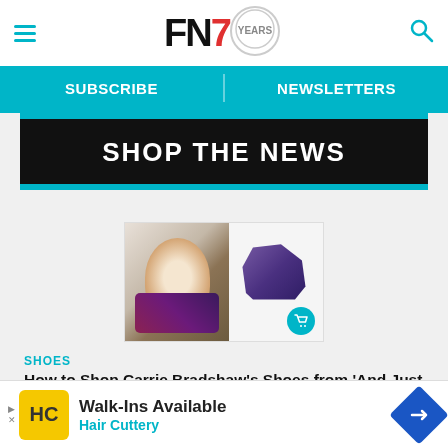FN7 — Footwear News website header with hamburger menu, logo, and search icon
SUBSCRIBE | NEWSLETTERS
SHOP THE NEWS
[Figure (photo): Article thumbnail showing Carrie Bradshaw and a high heel shoe with a shopping cart badge]
SHOES
How to Shop Carrie Bradshaw's Shoes from 'And Just Like That'
[Figure (photo): Article thumbnail showing a teal/navy sneaker with a shopping cart badge]
Walk-Ins Available Hair Cuttery